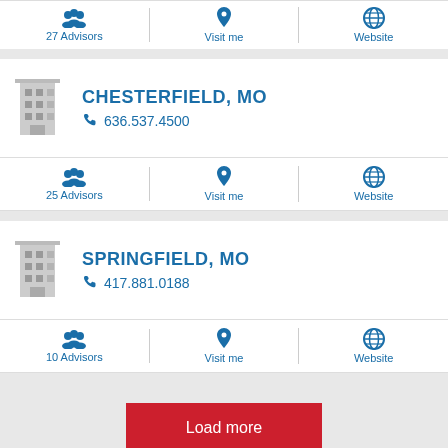27 Advisors
Visit me
Website
CHESTERFIELD, MO
636.537.4500
25 Advisors
Visit me
Website
SPRINGFIELD, MO
417.881.0188
10 Advisors
Visit me
Website
Load more